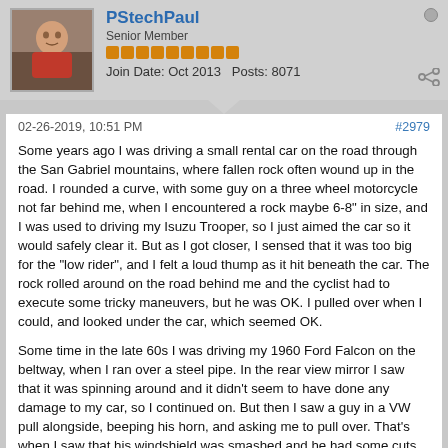PStechPaul | Senior Member | Join Date: Oct 2013  Posts: 8071
02-26-2019, 10:51 PM  #2979
Some years ago I was driving a small rental car on the road through the San Gabriel mountains, where fallen rock often wound up in the road. I rounded a curve, with some guy on a three wheel motorcycle not far behind me, when I encountered a rock maybe 6-8" in size, and I was used to driving my Isuzu Trooper, so I just aimed the car so it would safely clear it. But as I got closer, I sensed that it was too big for the "low rider", and I felt a loud thump as it hit beneath the car. The rock rolled around on the road behind me and the cyclist had to execute some tricky maneuvers, but he was OK. I pulled over when I could, and looked under the car, which seemed OK.

Some time in the late 60s I was driving my 1960 Ford Falcon on the beltway, when I ran over a steel pipe. In the rear view mirror I saw that it was spinning around and it didn't seem to have done any damage to my car, so I continued on. But then I saw a guy in a VW pull alongside, beeping his horn, and asking me to pull over. That's when I saw that his windshield was smashed and he had some cuts on his head. He was not badly injured, so we just exchanged insurance info, and went on our respective ways, and I never heard anything more. But that could have turned out a lot worse.